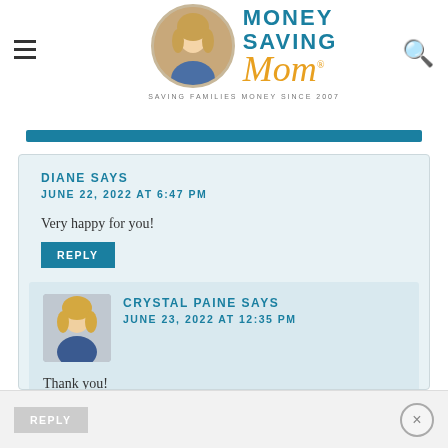[Figure (logo): Money Saving Mom logo with avatar photo, teal and gold text, tagline 'Saving Families Money Since 2007']
DIANE SAYS
JUNE 22, 2022 AT 6:47 PM
Very happy for you!
REPLY
[Figure (photo): Crystal Paine avatar headshot, blonde woman in blue]
CRYSTAL PAINE SAYS
JUNE 23, 2022 AT 12:35 PM
Thank you!
REPLY